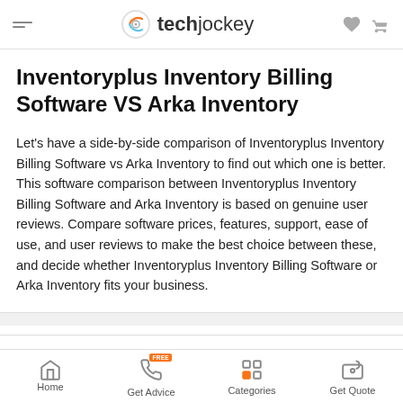techjockey
Inventoryplus Inventory Billing Software VS Arka Inventory
Let's have a side-by-side comparison of Inventoryplus Inventory Billing Software vs Arka Inventory to find out which one is better. This software comparison between Inventoryplus Inventory Billing Software and Arka Inventory is based on genuine user reviews. Compare software prices, features, support, ease of use, and user reviews to make the best choice between these, and decide whether Inventoryplus Inventory Billing Software or Arka Inventory fits your business.
Home | Get Advice | Categories | Get Quote